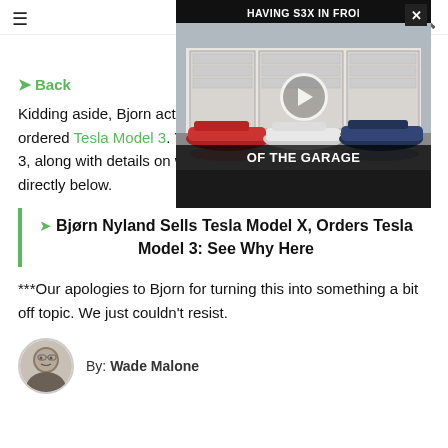InsideEVs
[Figure (screenshot): Video overlay showing Tesla S3X models in front of a garage, titled 'HAVING S3X IN FRONT OF THE GARAGE' with a play button in the center and a close X button.]
Back
Kidding aside, Bjorn actually took delivery of his recently ordered Tesla Model 3. You'll find more info on Bjorn's Model 3, along with details on which version he choose, at the link directly below.
Bjørn Nyland Sells Tesla Model X, Orders Tesla Model 3: See Why Here
***Our apologies to Bjorn for turning this into something a bit off topic. We just couldn't resist.
By: Wade Malone